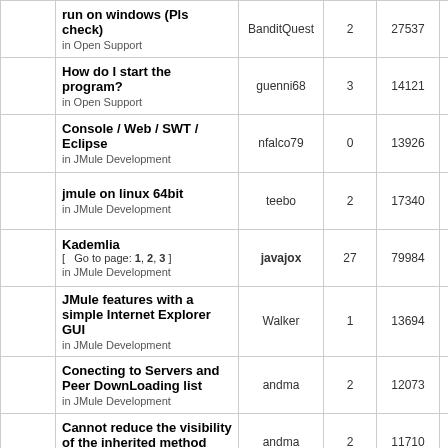|  | Topic | Author | Replies | Views | Last Post |
| --- | --- | --- | --- | --- | --- |
|  | run on windows (Pls check)
in Open Support | BanditQuest | 2 | 27537 | Sun Feb 16,
10:27 pm
BanditQuest |
|  | How do I start the program?
in Open Support | guenni68 | 3 | 14121 | Tue Oct 30,
7:08 pm
binary256 |
|  | Console / Web / SWT / Eclipse
in JMule Development | nfalco79 | 0 | 13926 | Fri Mar 16,
1:18 pm
nfalco79 |
|  | jmule on linux 64bit
in JMule Development | teebo | 2 | 17340 | Thu Sep 01,
8:33 pm
teebo |
|  | Kademlia
[ Go to page: 1, 2, 3 ]
in JMule Development | javajox | 27 | 79984 | Thu May 2
2011 4:01
binary256 |
|  | JMule features with a simple Internet Explorer GUI
in JMule Development | Walker | 1 | 13694 | Sat Mar 05,
2:28 pm
javajox |
|  | Conecting to Servers and Peer DownLoading list
in JMule Development | andma | 2 | 12073 | Fri Jan 21,
12:07 pm
andma |
|  | Cannot reduce the visibility of the inherited method
in JMule Development | andma | 2 | 11710 | Wed Dec 2
2010 2:07
andma |
|  | Internationalization: |  |  |  |  |